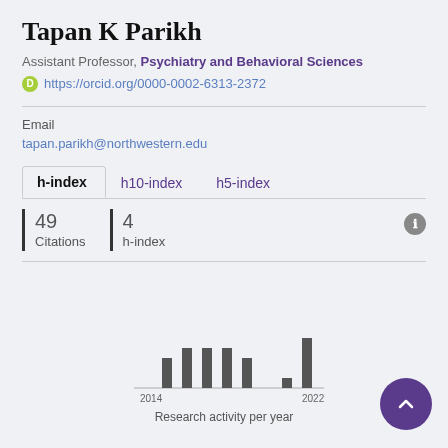Tapan K Parikh
Assistant Professor, Psychiatry and Behavioral Sciences
https://orcid.org/0000-0002-6313-2372
Email
tapan.parikh@northwestern.edu
h-index	h10-index	h5-index
| Citations | h-index |
| --- | --- |
| 49 | 4 |
[Figure (bar-chart): Research activity per year]
Research activity per year